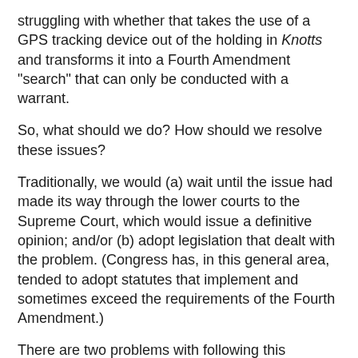struggling with whether that takes the use of a GPS tracking device out of the holding in Knotts and transforms it into a Fourth Amendment "search" that can only be conducted with a warrant.
So, what should we do? How should we resolve these issues?
Traditionally, we would (a) wait until the issue had made its way through the lower courts to the Supreme Court, which would issue a definitive opinion; and/or (b) adopt legislation that dealt with the problem. (Congress has, in this general area, tended to adopt statutes that implement and sometimes exceed the requirements of the Fourth Amendment.)
There are two problems with following this traditional approach in an era of rapidly-evolving technology:
It can take forever for a case to make its way to the Supreme Court, be argued, and then decided. (And this Supreme Court takes very few cases --